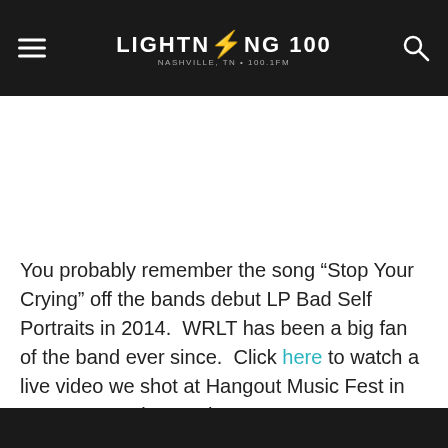Lightning 100 — Nashville, TN · 100.1FM
You probably remember the song “Stop Your Crying” off the bands debut LP Bad Self Portraits in 2014.  WRLT has been a big fan of the band ever since.  Click here to watch a live video we shot at Hangout Music Fest in 2014.  Let us know what